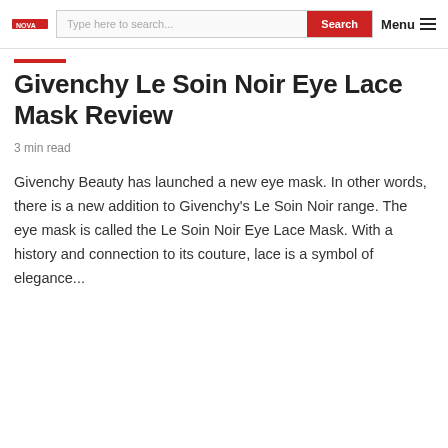Type here to search... | Search | Menu
Givenchy Le Soin Noir Eye Lace Mask Review
3 min read
Givenchy Beauty has launched a new eye mask. In other words, there is a new addition to Givenchy's Le Soin Noir range. The eye mask is called the Le Soin Noir Eye Lace Mask. With a history and connection to its couture, lace is a symbol of elegance...